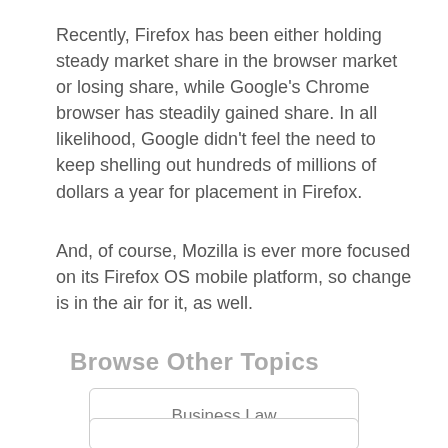Recently, Firefox has been either holding steady market share in the browser market or losing share, while Google's Chrome browser has steadily gained share. In all likelihood, Google didn't feel the need to keep shelling out hundreds of millions of dollars a year for placement in Firefox.
And, of course, Mozilla is ever more focused on its Firefox OS mobile platform, so change is in the air for it, as well.
Browse Other Topics
Business Law